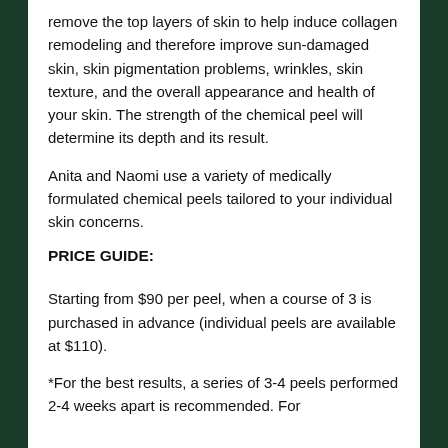remove the top layers of skin to help induce collagen remodeling and therefore improve sun-damaged skin, skin pigmentation problems, wrinkles, skin texture, and the overall appearance and health of your skin. The strength of the chemical peel will determine its depth and its result.
Anita and Naomi use a variety of medically formulated chemical peels tailored to your individual skin concerns.
PRICE GUIDE:
Starting from $90 per peel, when a course of 3 is purchased in advance (individual peels are available at $110).
*For the best results, a series of 3-4 peels performed 2-4 weeks apart is recommended. For